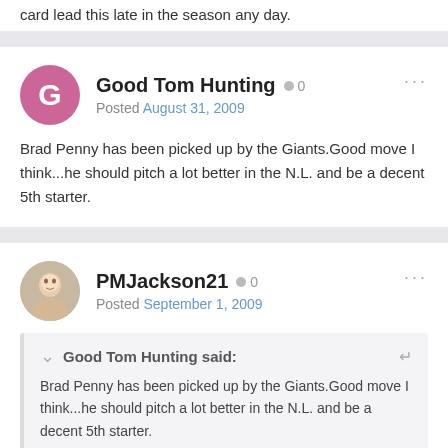card lead this late in the season any day.
Good Tom Hunting • 0
Posted August 31, 2009
Brad Penny has been picked up by the Giants.Good move I think...he should pitch a lot better in the N.L. and be a decent 5th starter.
PMJackson21 • 0
Posted September 1, 2009
Good Tom Hunting said:
Brad Penny has been picked up by the Giants.Good move I think...he should pitch a lot better in the N.L. and be a decent 5th starter.